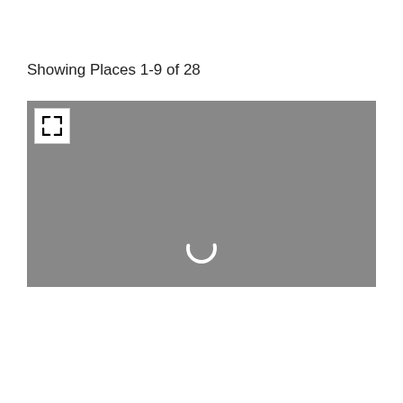Showing Places 1-9 of 28
[Figure (map): A gray loading map with an expand/fullscreen button in the top-left corner and a loading spinner (circular arc) centered near the bottom of the map area.]